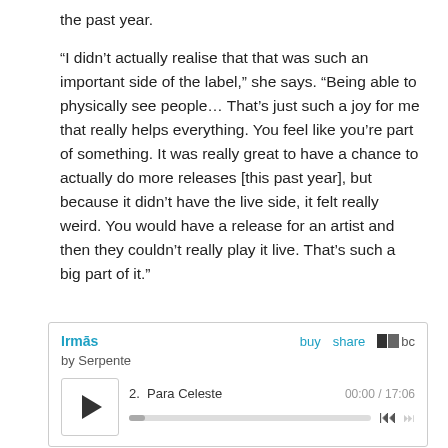the past year.

“I didn’t actually realise that that was such an important side of the label,” she says. “Being able to physically see people… That’s just such a joy for me that really helps everything. You feel like you’re part of something. It was really great to have a chance to actually do more releases [this past year], but because it didn’t have the live side, it felt really weird. You would have a release for an artist and then they couldn’t really play it live. That’s such a big part of it.”
[Figure (other): Embedded Bandcamp music player widget showing 'Irmās by Serpente' with track '2. Para Celeste', time 00:00 / 17:06, play button, progress bar, and skip controls. Links: buy, share, bc logo.]